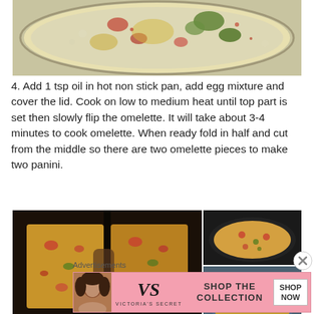[Figure (photo): Top-down view of egg mixture with vegetables (tomatoes, broccoli, cheese) in a white bowl/pan]
4. Add 1 tsp oil in hot non stick pan, add egg mixture and cover the lid. Cook on low to medium heat until top part is set then slowly flip the omelette. It will take about 3-4 minutes to cook omelette. When ready fold in half and cut from the middle so there are two omelette pieces to make two panini.
[Figure (photo): Left photo: close-up of cooked omelette slices with visible vegetables and cheese; Right top: omelette in dark pan; Right bottom: omelette in blue pan]
Advertisements
[Figure (photo): Victoria's Secret advertisement banner with model, VS logo, SHOP THE COLLECTION text, and SHOP NOW button]